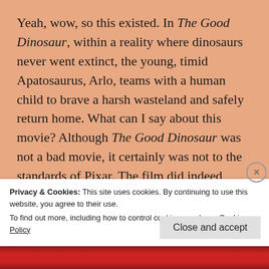Yeah, wow, so this existed. In The Good Dinosaur, within a reality where dinosaurs never went extinct, the young, timid Apatosaurus, Arlo, teams with a human child to brave a harsh wasteland and safely return home. What can I say about this movie? Although The Good Dinosaur was not a bad movie, it certainly was not to the standards of Pixar. The film did indeed borrow elements from past Disney films like Brave had and, as a result, appeared forgettable and unoriginal... however the film did indeed have
Privacy & Cookies: This site uses cookies. By continuing to use this website, you agree to their use.
To find out more, including how to control cookies, see here: Cookie Policy
Close and accept